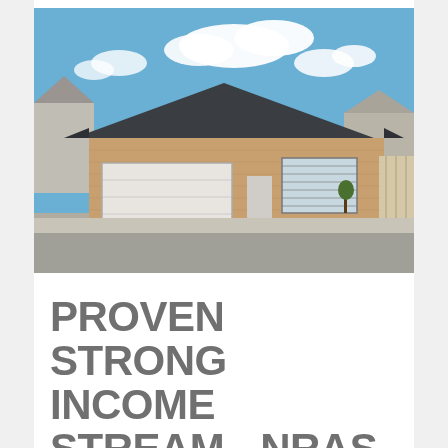[Figure (photo): Exterior photo of a single-storey brick house with a dark grey hip roof, double garage with white roller door, concrete driveway, and dark mulch garden bed with a small tree. Blue sky with white clouds in background.]
PROVEN STRONG INCOME STREAM - NRAS TO 2022